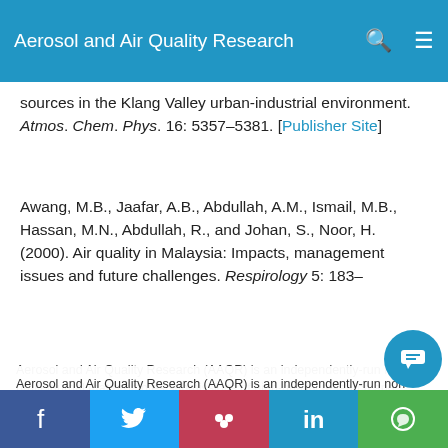Aerosol and Air Quality Research
sources in the Klang Valley urban-industrial environment. Atmos. Chem. Phys. 16: 5357–5381. [Publisher Site]
Awang, M.B., Jaafar, A.B., Abdullah, A.M., Ismail, M.B., Hassan, M.N., Abdullah, R., and Johan, S., Noor, H. (2000). Air quality in Malaysia: Impacts, management issues and future challenges. Respirology 5: 183–
Aerosol and Air Quality Research (AAQR) is an independently-run non-profit journal that promotes submissions of high-quality research and strives to be one of the leading aerosol and air quality open-access journals in the world. We use cookies on this website to personalize content to improve your user experience and analyze our traffic. By using this site you agree to its use of cookies.
Ok